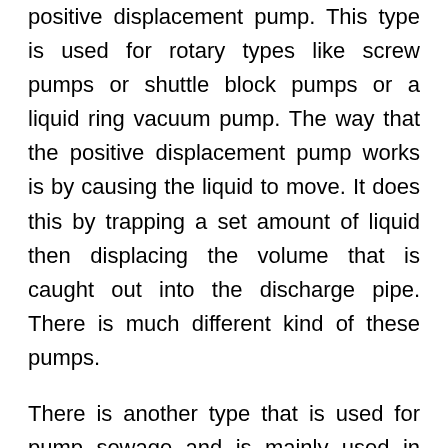positive displacement pump. This type is used for rotary types like screw pumps or shuttle block pumps or a liquid ring vacuum pump. The way that the positive displacement pump works is by causing the liquid to move. It does this by trapping a set amount of liquid then displacing the volume that is caught out into the discharge pipe. There is much different kind of these pumps.
There is another type that is used for pump sewage and is mainly used in wastewater plants and mostly where solid materials are pumped. This kind of pump can run without attendance. You can rely on this type of pump to run at maximum performance. This kind is classified as the dry pit industrial submersible pump.